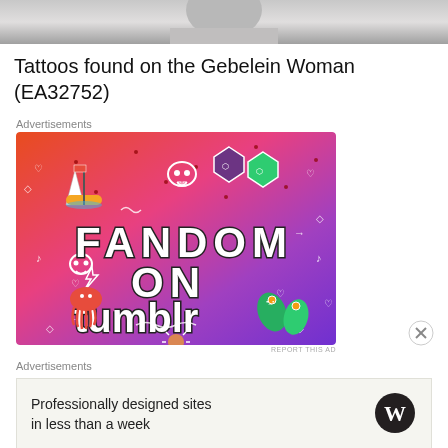[Figure (photo): Grayscale photo at top of page, partially cropped]
Tattoos found on the Gebelein Woman (EA32752)
Advertisements
[Figure (illustration): Tumblr advertisement: colorful gradient background (orange to purple) with doodle illustrations and text 'FANDOM ON tumblr']
REPORT THIS AD
Advertisements
[Figure (other): WordPress advertisement: 'Professionally designed sites in less than a week' with WordPress logo]